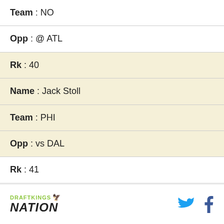| Team : NO |
| Opp : @ ATL |
| Rk : 40 |
| Name : Jack Stoll |
| Team : PHI |
| Opp : vs DAL |
| Rk : 41 |
| Name : Hayden Hurst |
| Team : ATL |
| Opp : vs NO |
[Figure (logo): DraftKings Nation logo with green text and orange bird icon, followed by Twitter and Facebook social icons]